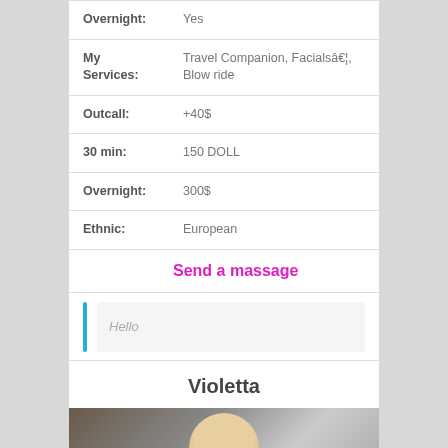| Overnight: | Yes |
| My Services: | Travel Companion, Facialsâ€¦, Blow ride |
| Outcall: | +40$ |
| 30 min: | 150 DOLL |
| Overnight: | 300$ |
| Ethnic: | European |
Send a massage
Hello
Violetta
[Figure (photo): Photo of a blonde woman]